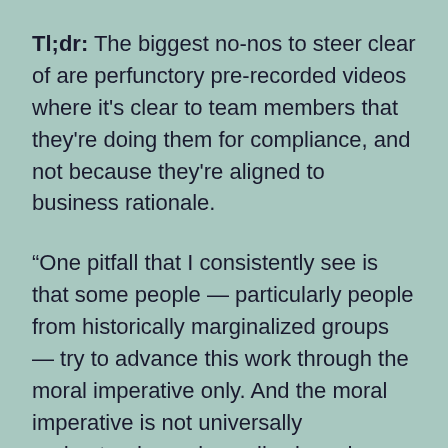Tl;dr: The biggest no-nos to steer clear of are perfunctory pre-recorded videos where it's clear to team members that they're doing them for compliance, and not because they're aligned to business rationale.
“One pitfall that I consistently see is that some people — particularly people from historically marginalized groups — try to advance this work through the moral imperative only. And the moral imperative is not universally understood or universally viewed as a motivation,” explains Dr. Gay. “So there has to be a business alignment. Everything in a